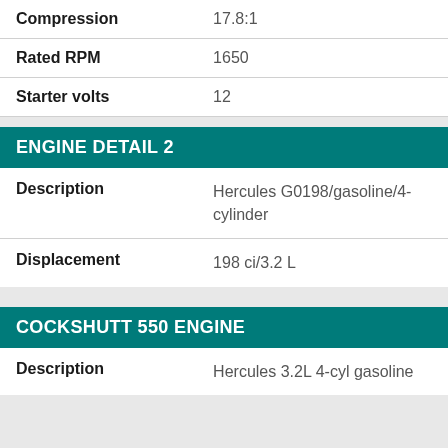| Property | Value |
| --- | --- |
| Compression | 17.8:1 |
| Rated RPM | 1650 |
| Starter volts | 12 |
ENGINE DETAIL 2
| Property | Value |
| --- | --- |
| Description | Hercules G0198/gasoline/4-cylinder |
| Displacement | 198 ci/3.2 L |
COCKSHUTT 550 ENGINE
| Property | Value |
| --- | --- |
| Description | Hercules 3.2L 4-cyl gasoline |